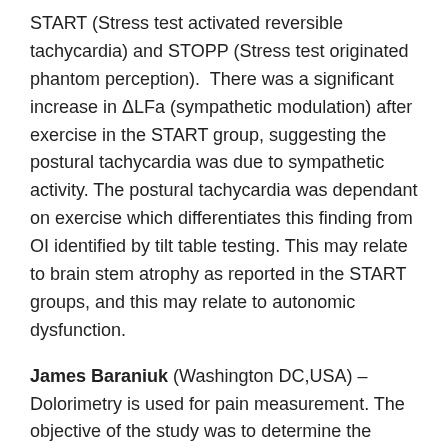START (Stress test activated reversible tachycardia) and STOPP (Stress test originated phantom perception). There was a significant increase in ΔLFa (sympathetic modulation) after exercise in the START group, suggesting the postural tachycardia was due to sympathetic activity. The postural tachycardia was dependant on exercise which differentiates this finding from OI identified by tilt table testing. This may relate to brain stem atrophy as reported in the START groups, and this may relate to autonomic dysfunction.
James Baraniuk (Washington DC,USA) – Dolorimetry is used for pain measurement. The objective of the study was to determine the distribution of pressure-induced tenderness using dolorimetry for 18 tender points in ME/CFS, FM, GWI and SC women, and to see if this could discriminate between the groups. GWI was distinct from ME/CFS and the other groups both by their history, symptoms and systemic hyperalgesia.